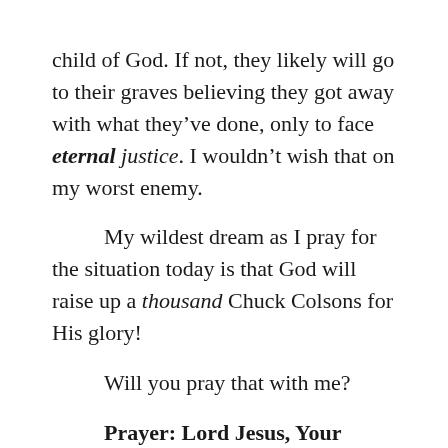child of God. If not, they likely will go to their graves believing they got away with what they've done, only to face eternal justice. I wouldn't wish that on my worst enemy.
My wildest dream as I pray for the situation today is that God will raise up a thousand Chuck Colsons for His glory!
Will you pray that with me?
Prayer: Lord Jesus, Your prayer for the ones who crucified You proved that You can love anyone, and your transformation of Chuck Colson proves that You can save anyone. We pray for those who are caught up in today's corruption, that they might be